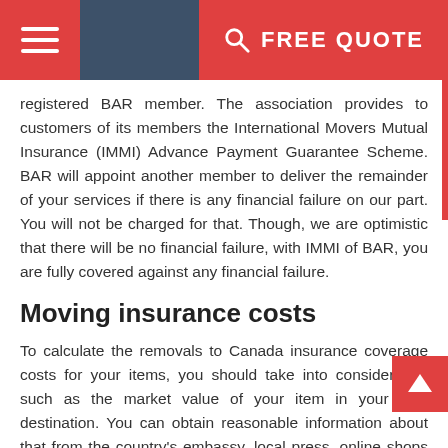FREE QUOTE
registered BAR member. The association provides to customers of its members the International Movers Mutual Insurance (IMMI) Advance Payment Guarantee Scheme. BAR will appoint another member to deliver the remainder of your services if there is any financial failure on our part. You will not be charged for that. Though, we are optimistic that there will be no financial failure, with IMMI of BAR, you are fully covered against any financial failure.
Moving insurance costs
To calculate the removals to Canada insurance coverage costs for your items, you should take into consideration such as the market value of your item in your final destination. You can obtain reasonable information about that from the country's embassy, local press, online shops of the country of your destination and the likes.
You should try to provide detailed information about your items on your proposal form when you are completing it. You will need to make a proper inventory of the goods you you are moving to